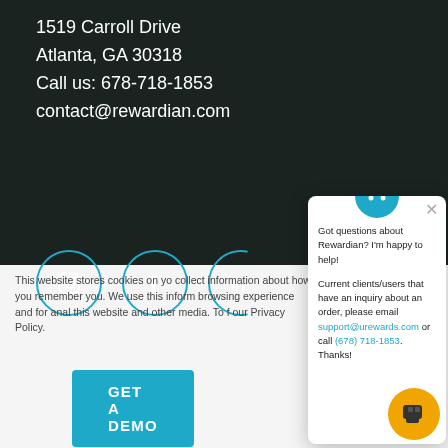1519 Carroll Drive
Atlanta, GA 30318
Call us: 678-718-1853
contact@rewardian.com
GET A DEMO
[Figure (illustration): Social media icons: Instagram, Facebook, LinkedIn in teal circle outlines on dark background]
This website stores cookies on you collect information about how you remember you. We use this inform browsing experience and for anal this website and other media. To f our Privacy Policy.
[Figure (screenshot): Chat popup with Rewardian chatbot. Teal circular icon at top. Close X button. Text: Got questions about Rewardian? I'm happy to help! Current clients/users that have an inquiry about an order, please email support@urewards.com or call (678) 718-1853. Thanks!]
Accept